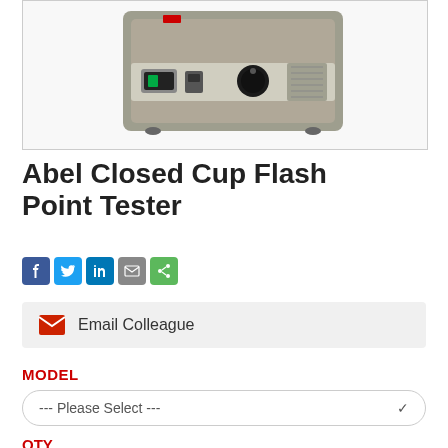[Figure (photo): Abel Closed Cup Flash Point Tester device — a metallic/silver instrument with control panel showing switches and a temperature dial knob, on a white background.]
Abel Closed Cup Flash Point Tester
[Figure (infographic): Row of social sharing icons: Facebook (blue), Twitter (blue), LinkedIn (blue), Email (grey), Share (green)]
Email Colleague
MODEL
--- Please Select ---
QTY
1